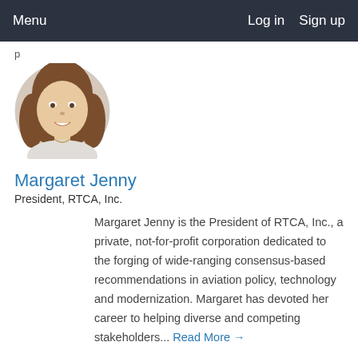Menu   Log in   Sign up
p
[Figure (photo): Circular profile photo of Margaret Jenny, a woman with brown hair, smiling, wearing a light blouse and necklace.]
Margaret Jenny
President, RTCA, Inc.
Margaret Jenny is the President of RTCA, Inc., a private, not-for-profit corporation dedicated to the forging of wide-ranging consensus-based recommendations in aviation policy, technology and modernization. Margaret has devoted her career to helping diverse and competing stakeholders... Read More →